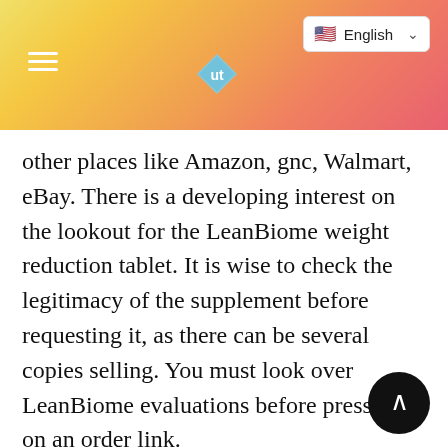[Figure (screenshot): Website header bar with gradient background (yellow to orange-red), hamburger menu icon on left, diamond-shaped 'ut' logo in center, English language selector with US flag on top right]
other places like Amazon, gnc, Walmart, eBay. There is a developing interest on the lookout for the LeanBiome weight reduction tablet. It is wise to check the legitimacy of the supplement before requesting it, as there can be several copies selling. You must look over LeanBiome evaluations before pressing on an order link.
If someone claims to sell the same thing for less money, you should not believe them. When you buy straight